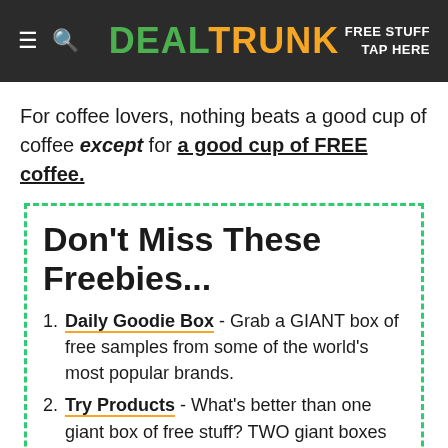DEAL TRUNK | FREE STUFF TAP HERE
For coffee lovers, nothing beats a good cup of coffee except for a good cup of FREE coffee.
Don't Miss These Freebies...
Daily Goodie Box - Grab a GIANT box of free samples from some of the world's most popular brands.
Try Products - What's better than one giant box of free stuff? TWO giant boxes of free stuff. Join Try